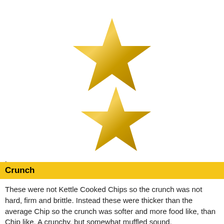[Figure (illustration): Two gold/yellow stars arranged vertically, centered on the page upper half. The top star is larger than the bottom star.]
.
Crunch
These were not Kettle Cooked Chips so the crunch was not hard, firm and brittle. Instead these were thicker than the average Chip so the crunch was softer and more food like, than Chip like. A crunchy, but somewhat muffled sound.